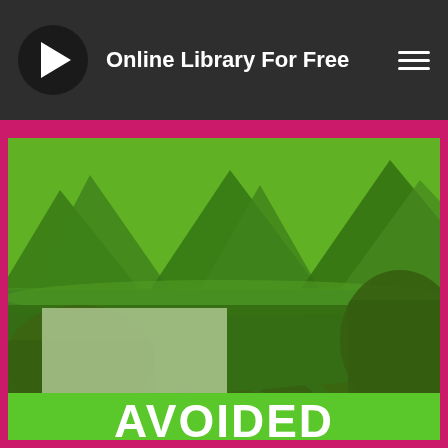Online Library For Free
[Figure (illustration): Book cover for 'Routledge Explorations in Environmental Economics: Avoided' showing a green-tinted landscape with mountains, a lake, and large exposed tree roots/stumps in the foreground. The image has a strong green color overlay. A semi-transparent label box reads 'ROUTLEDGE EXPLORATIONS IN ENVIRONMENTAL ECONOMICS'. The bottom shows the word 'AVOIDED' in large white bold text on a bright green bar.]